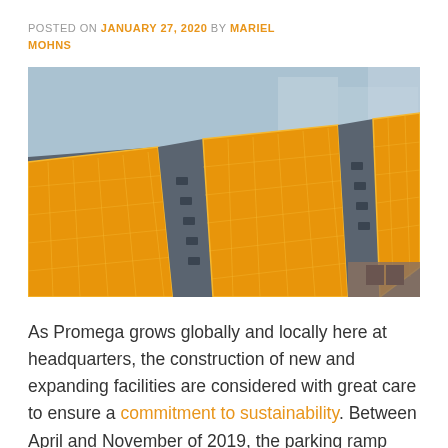POSTED ON JANUARY 27, 2020 BY MARIEL MOHNS
[Figure (photo): Aerial view of large orange/yellow solar panels installed on a flat rooftop of a building, with parking structure visible below and urban background.]
As Promega grows globally and locally here at headquarters, the construction of new and expanding facilities are considered with great care to ensure a commitment to sustainability. Between April and November of 2019, the parking ramp located near the Feynman Center